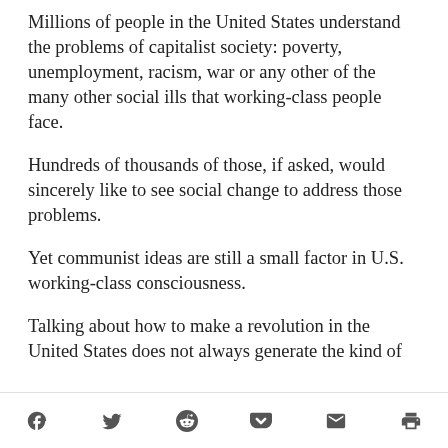Millions of people in the United States understand the problems of capitalist society: poverty, unemployment, racism, war or any other of the many other social ills that working-class people face.
Hundreds of thousands of those, if asked, would sincerely like to see social change to address those problems.
Yet communist ideas are still a small factor in U.S. working-class consciousness.
Talking about how to make a revolution in the United States does not always generate the kind of fear and anti-communist hatred that has been the case during periods of witch hunts and red-baiting—at least among most social justice activists. Rather, the biggest criticism of communist politics among activists is that it is unrealistic, hopeless or not practical.
[social media share icons: Facebook, Twitter, Reddit, Pocket, Email, Print]